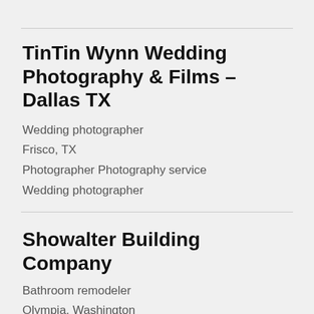TinTin Wynn Wedding Photography & Films – Dallas TX
Wedding photographer
Frisco, TX
Photographer Photography service
Wedding photographer
Showalter Building Company
Bathroom remodeler
Olympia, Washington
Olympia Bathroom Remodel